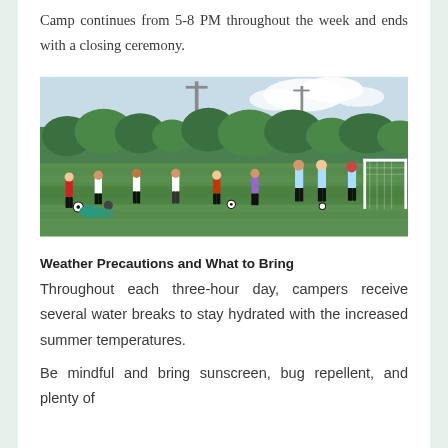Camp continues from 5-8 PM throughout the week and ends with a closing ceremony.
[Figure (photo): Children playing soccer on a green field with a goal post on the right, trees and light poles in the background under a partly cloudy sky.]
Weather Precautions and What to Bring
Throughout each three-hour day, campers receive several water breaks to stay hydrated with the increased summer temperatures.
Be mindful and bring sunscreen, bug repellent, and plenty of